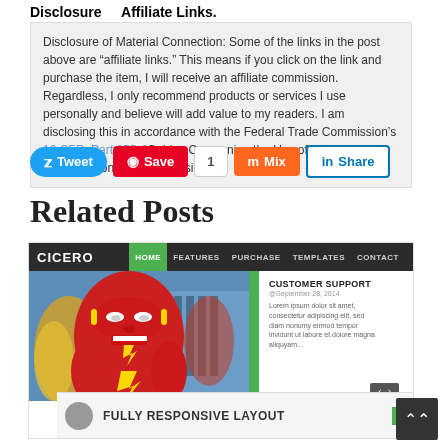Disclosure   Affiliate Links.
Disclosure of Material Connection: Some of the links in the post above are “affiliate links.” This means if you click on the link and purchase the item, I will receive an affiliate commission. Regardless, I only recommend products or services I use personally and believe will add value to my readers. I am disclosing this in accordance with the Federal Trade Commission’s 16 CFR, Part 255: “Guides Concerning the Use of Endorsements and Testimonials in Advertising.”
[Figure (screenshot): Social sharing buttons row: Tweet (Twitter/blue), Save (Pinterest/red), 1 (count), Mix (orange), Share (LinkedIn/white with blue border)]
Related Posts
[Figure (screenshot): Screenshot of Cicero WordPress theme website showing navigation bar with HOME, FEATURES, PURCHASE, TEMPLATES, CONTACT, a hero image of a Flash superhero comic artwork, a green sidebar stripe, and a CUSTOMER SUPPORT section on the right. Below shows FULLY RESPONSIVE LAYOUT strip.]